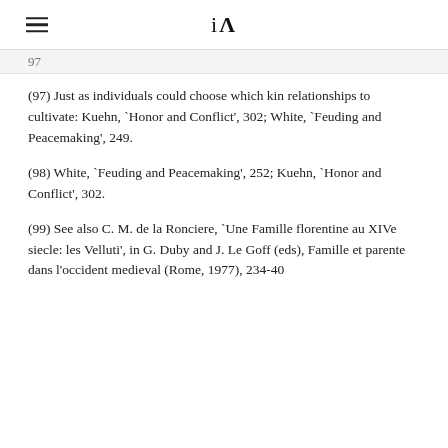iA
97
(97) Just as individuals could choose which kin relationships to cultivate: Kuehn, `Honor and Conflict', 302; White, `Feuding and Peacemaking', 249.
(98) White, `Feuding and Peacemaking', 252; Kuehn, `Honor and Conflict', 302.
(99) See also C. M. de la Ronciere, `Une Famille florentine au XIVe siecle: les Velluti', in G. Duby and J. Le Goff (eds), Famille et parente dans l'occident medieval (Rome, 1977), 234-40